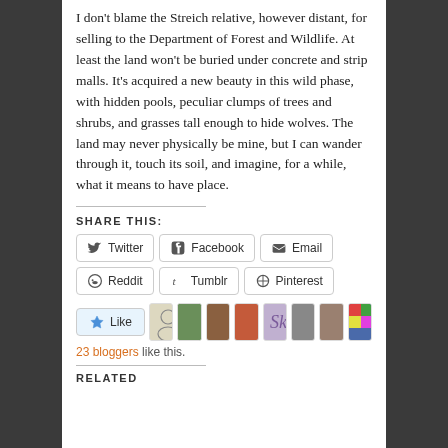I don't blame the Streich relative, however distant, for selling to the Department of Forest and Wildlife. At least the land won't be buried under concrete and strip malls. It's acquired a new beauty in this wild phase, with hidden pools, peculiar clumps of trees and shrubs, and grasses tall enough to hide wolves. The land may never physically be mine, but I can wander through it, touch its soil, and imagine, for a while, what it means to have place.
SHARE THIS:
Twitter | Facebook | Email | Reddit | Tumblr | Pinterest
Like - 23 bloggers like this.
RELATED